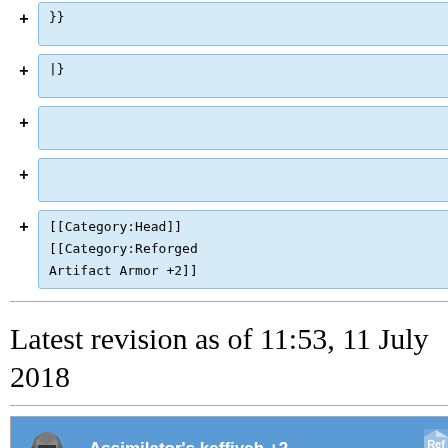}}
|}
[[Category:Head]] [[Category:Reforged Artifact Armor +2]]
Latest revision as of 11:53, 11 July 2018
| Assimilator's keffiyeh +2 | References |
| --- | --- |
| DEF:112 HP+69 MP+49 STR+25 DEX+29 VIT+25 AGI+29 INT+28 MND+28 CHR+26 |  |